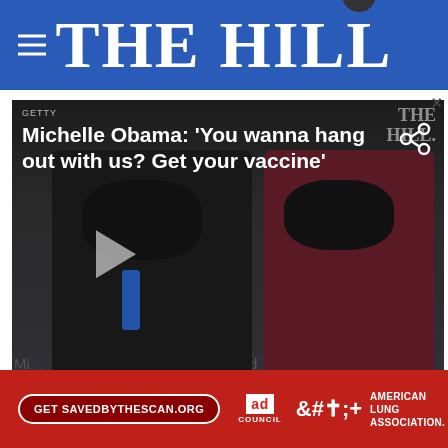THE HILL
[Figure (screenshot): Video thumbnail showing Michelle and Barack Obama wearing black face masks. Overlay text reads: Michelle Obama: 'You wanna hang out with us? Get your vaccine'. Getty watermark top left, The Hill watermark top right, share icon top right, play button center left.]
same science that’s behind aspirin and insulin.”
Mi… eed fo…
[Figure (screenshot): Advertisement banner with red background. Button reads 'Get SAVEDBYTHESCAN.ORG'. Ad Council logo. American Lung Association logo.]